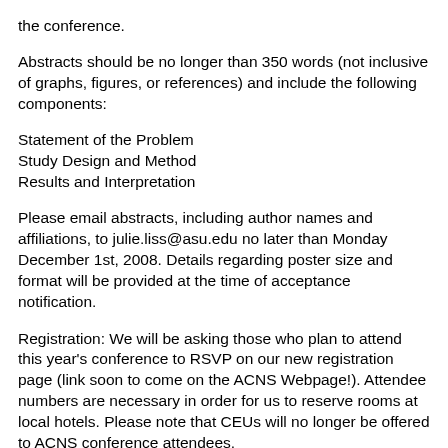the conference.
Abstracts should be no longer than 350 words (not inclusive of graphs, figures, or references) and include the following components:
Statement of the Problem
Study Design and Method
Results and Interpretation
Please email abstracts, including author names and affiliations, to julie.liss@asu.edu no later than Monday December 1st, 2008. Details regarding poster size and format will be provided at the time of acceptance notification.
Registration: We will be asking those who plan to attend this year's conference to RSVP on our new registration page (link soon to come on the ACNS Webpage!). Attendee numbers are necessary in order for us to reserve rooms at local hotels. Please note that CEUs will no longer be offered to ACNS conference attendees.
Hope to see you in January!